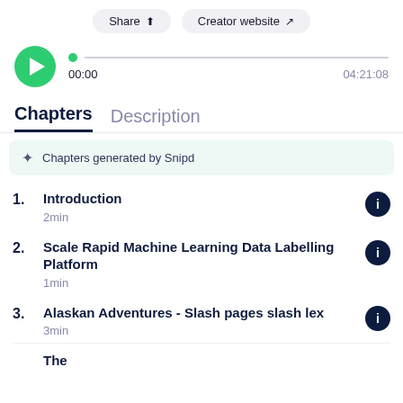[Figure (screenshot): Top buttons: Share with upload icon and Creator website with arrow icon]
[Figure (screenshot): Audio player with green play button, progress bar showing 00:00 current time and 04:21:08 total duration]
Chapters   Description
✦ Chapters generated by Snipd
1. Introduction
2min
2. Scale Rapid Machine Learning Data Labelling Platform
1min
3. Alaskan Adventures - Slash pages slash lex
3min
4. The (partial, cut off)